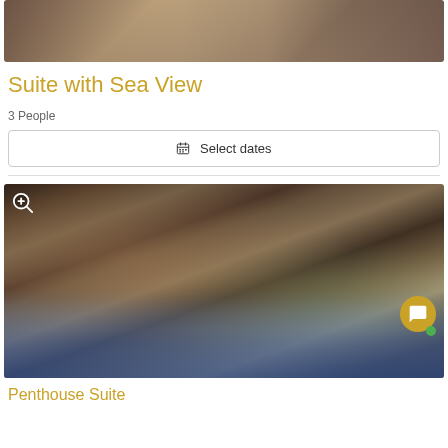[Figure (photo): Top cropped hotel room photo showing furniture and interior decor]
Suite with Sea View
3 People
Select dates
[Figure (photo): Hotel suite interior showing open-plan living area with blue patterned sofas, bar stools, kitchen island, staircase in warm stone and wood tones, with a framed picture on the right wall]
Penthouse Suitee